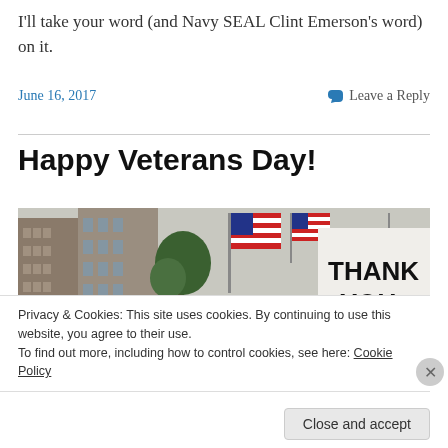I'll take your word (and Navy SEAL Clint Emerson's word) on it.
June 16, 2017
Leave a Reply
Happy Veterans Day!
[Figure (photo): Street scene with American flags and a sign reading THANK YOU, buildings in background]
Privacy & Cookies: This site uses cookies. By continuing to use this website, you agree to their use.
To find out more, including how to control cookies, see here: Cookie Policy
Close and accept